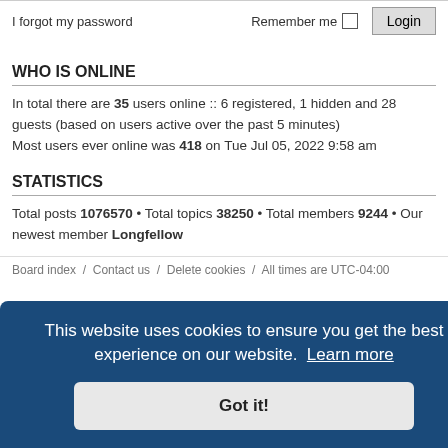I forgot my password   Remember me  Login
WHO IS ONLINE
In total there are 35 users online :: 6 registered, 1 hidden and 28 guests (based on users active over the past 5 minutes)
Most users ever online was 418 on Tue Jul 05, 2022 9:58 am
STATISTICS
Total posts 1076570 • Total topics 38250 • Total members 9244 • Our newest member Longfellow
Board index  /  Contact us  /  Delete cookies  /  All times are UTC-04:00
This website uses cookies to ensure you get the best experience on our website. Learn more
Got it!